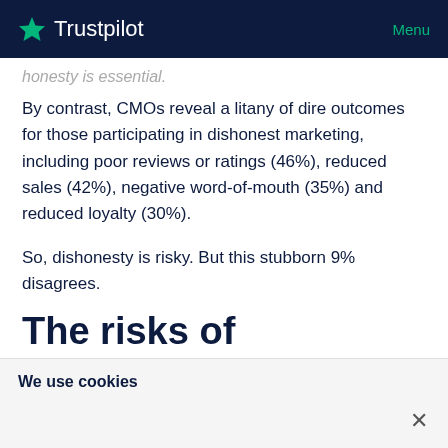Trustpilot   Menu
honesty is essential.
By contrast, CMOs reveal a litany of dire outcomes for those participating in dishonest marketing, including poor reviews or ratings (46%), reduced sales (42%), negative word-of-mouth (35%) and reduced loyalty (30%).
So, dishonesty is risky. But this stubborn 9% disagrees.
The risks of dishonesty
We use cookies